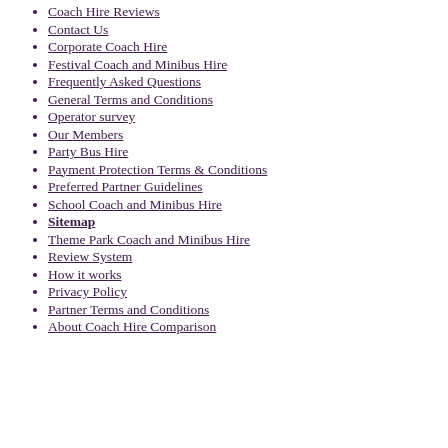Coach Hire Reviews
Contact Us
Corporate Coach Hire
Festival Coach and Minibus Hire
Frequently Asked Questions
General Terms and Conditions
Operator survey
Our Members
Party Bus Hire
Payment Protection Terms & Conditions
Preferred Partner Guidelines
School Coach and Minibus Hire
Sitemap
Theme Park Coach and Minibus Hire
Review System
How it works
Privacy Policy
Partner Terms and Conditions
About Coach Hire Comparison